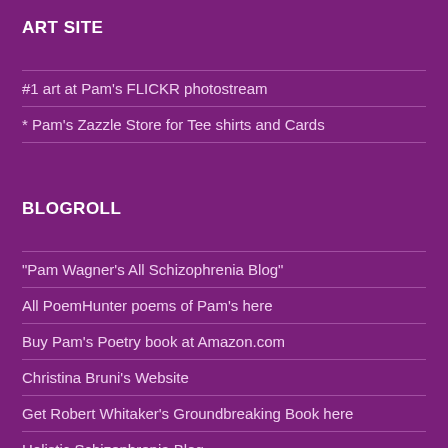ART SITE
#1 art at Pam's FLICKR photostream
* Pam's Zazzle Store for Tee shirts and Cards
BLOGROLL
"Pam Wagner's All Schizophrenia Blog"
All PoemHunter poems of Pam's here
Buy Pam's Poetry book at Amazon.com
Christina Bruni's Website
Get Robert Whitaker's Groundbreaking Book here
Holistic Schizophrenia Blog